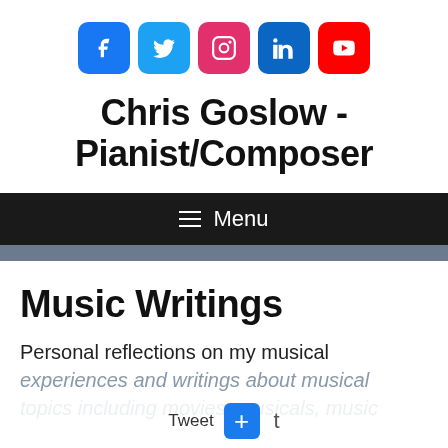[Figure (illustration): Five social media icon buttons in a row: Facebook (blue), Twitter (light blue), Instagram (pink/red), LinkedIn (dark blue), YouTube (red)]
Chris Goslow - Pianist/Composer
≡ Menu
Music Writings
Personal reflections on my musical experiences and writings about musical topics including movies, musicals, music